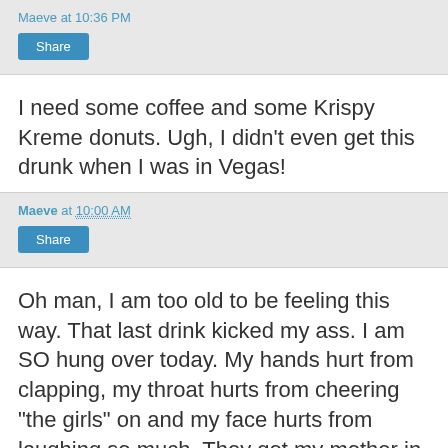Maeve at 10:36 PM
Share
I need some coffee and some Krispy Kreme donuts. Ugh, I didn't even get this drunk when I was in Vegas!
Maeve at 10:00 AM
Share
Oh man, I am too old to be feeling this way. That last drink kicked my ass. I am SO hung over today. My hands hurt from clapping, my throat hurts from cheering "the girls" on and my face hurts from laughing so much. They got my mother in law up on stage for the blow job shot (I did it last time). Now my mother in law does not drink. She has no clue as to what she is suppose to do (pick up shot glass w/out